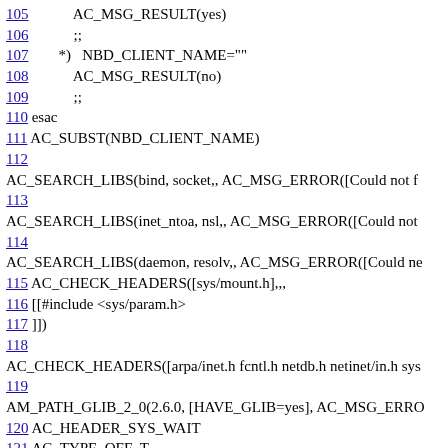105         AC_MSG_RESULT(yes)
106         ;;
107     *)  NBD_CLIENT_NAME=""
108         AC_MSG_RESULT(no)
109         ;;
110 esac
111 AC_SUBST(NBD_CLIENT_NAME)
112
AC_SEARCH_LIBS(bind, socket,, AC_MSG_ERROR([Could not f
113
AC_SEARCH_LIBS(inet_ntoa, nsl,, AC_MSG_ERROR([Could not
114
AC_SEARCH_LIBS(daemon, resolv,, AC_MSG_ERROR([Could ne
115 AC_CHECK_HEADERS([sys/mount.h],,,
116 [[#include <sys/param.h>
117 ]])
118
AC_CHECK_HEADERS([arpa/inet.h fcntl.h netdb.h netinet/in.h sys
119
AM_PATH_GLIB_2_0(2.6.0, [HAVE_GLIB=yes], AC_MSG_ERRO
120 AC_HEADER_SYS_WAIT
121 AC_TYPE_OFF_T
122 AC_TYPE_PID_T
123 nbd_server_CPPFLAGS=$nbd_server_CPPFLAGS" -DSYSCONFDIR="\"$sysconfdir\""